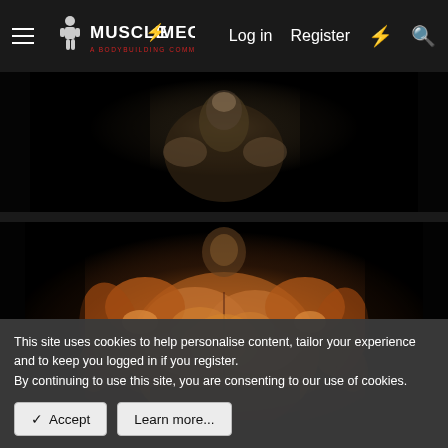Muscle Mecca — Log in  Register
[Figure (photo): Dark video still showing a bodybuilder from above, partially lit against a very dark background, upper torso/neck visible]
[Figure (photo): Dark video still showing a muscular bodybuilder posing, flexing upper body musculature, lit with warm orange/gold lighting against very dark background]
This site uses cookies to help personalise content, tailor your experience and to keep you logged in if you register.
By continuing to use this site, you are consenting to our use of cookies.
Accept  Learn more...